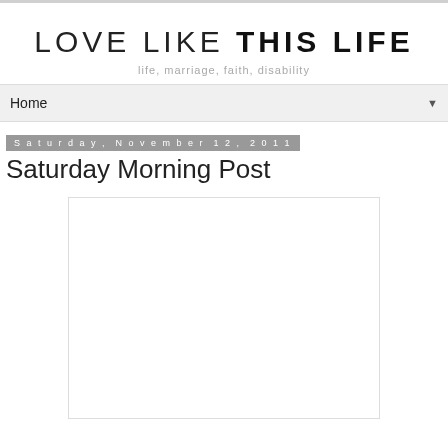LOVE LIKE THIS LIFE
life, marriage, faith, disability
Home
Saturday, November 12, 2011
Saturday Morning Post
[Figure (photo): White/blank image placeholder box with light border]